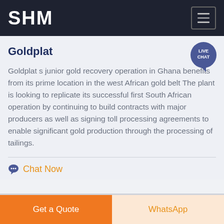SHM
Goldplat
Goldplat s junior gold recovery operation in Ghana benefits from its prime location in the west African gold belt The plant is looking to replicate its successful first South African operation by continuing to build contracts with major producers as well as signing toll processing agreements to enable significant gold production through the processing of tailings.
Chat Now
Get a Quote
WhatsApp